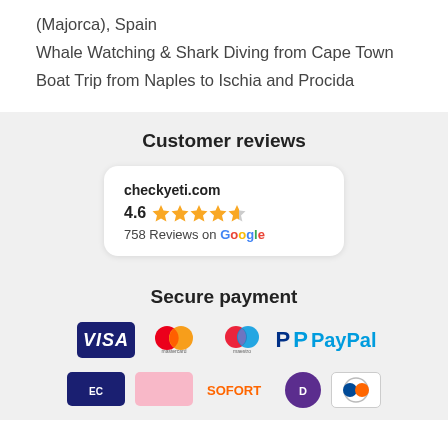(Majorca), Spain
Whale Watching & Shark Diving from Cape Town
Boat Trip from Naples to Ischia and Procida
Customer reviews
[Figure (infographic): Review card showing checkyeti.com with a rating of 4.6 stars (4.5 filled stars shown) and 758 Reviews on Google]
Secure payment
[Figure (infographic): Payment method logos: Visa, Mastercard, Maestro, PayPal, and partial row of additional payment logos]